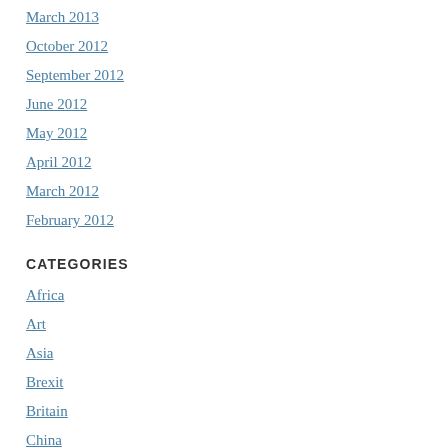March 2013
October 2012
September 2012
June 2012
May 2012
April 2012
March 2012
February 2012
CATEGORIES
Africa
Art
Asia
Brexit
Britain
China
comment & opinion